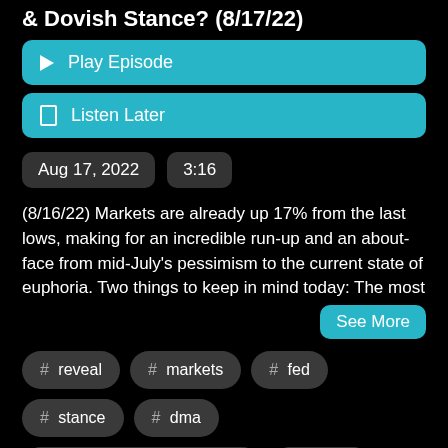& Dovish Stance? (8/17/22)
Play Episode
Listen Later
Aug 17, 2022   3:16
(8/16/22) Markets are already up 17% from the last lows, making for an incredible run-up and an about-face from mid-July's pessimism to the current state of euphoria. Two things to keep in mind today: The most
See More
# reveal
# markets
# fed
# stance
# dma
# chief investment strategist
# dovish